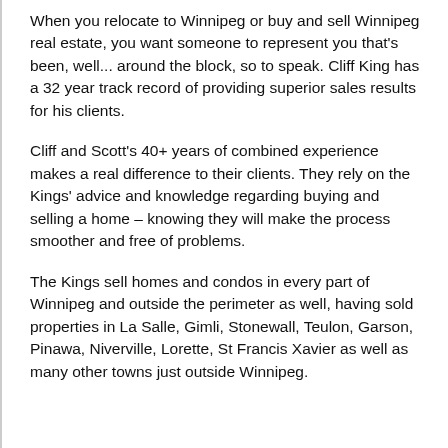When you relocate to Winnipeg or buy and sell Winnipeg real estate, you want someone to represent you that's been, well... around the block, so to speak. Cliff King has a 32 year track record of providing superior sales results for his clients.
Cliff and Scott's 40+ years of combined experience makes a real difference to their clients. They rely on the Kings' advice and knowledge regarding buying and selling a home – knowing they will make the process smoother and free of problems.
The Kings sell homes and condos in every part of Winnipeg and outside the perimeter as well, having sold properties in La Salle, Gimli, Stonewall, Teulon, Garson, Pinawa, Niverville, Lorette, St Francis Xavier as well as many other towns just outside Winnipeg.